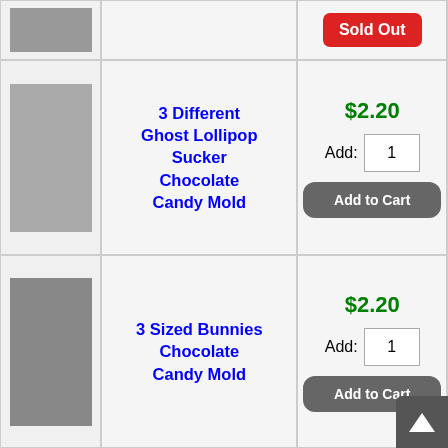[Figure (photo): Partial product image at top left, cropped]
Sold Out
[Figure (photo): Ghost lollipop sucker chocolate candy mold product image]
3 Different Ghost Lollipop Sucker Chocolate Candy Mold
$2.20
Add: 1
Add to Cart
[Figure (photo): 3 Sized Bunnies chocolate candy mold product image]
3 Sized Bunnies Chocolate Candy Mold
$2.20
Add: 1
Add to Cart